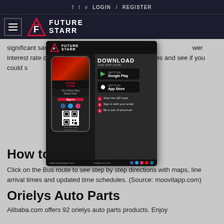f  t  v  LOGIN  /  REGISTER
[Figure (logo): Future Starr logo with hamburger menu on dark navy background]
significant savings and see if you could save. Refinancing at a lower interest rate could mean significant savings in minutes and see if you could save.
[Figure (infographic): Future Starr app download advertisement overlay showing phone mockup, Google Play and App Store download buttons, QR code, and steps to get started]
How to Get by Bus?
Click on the Bus route to see step by step directions with maps, line arrival times and updated time schedules. (Source: moovitapp.com)
Orielys Auto Parts
Alibaba.com offers 92 orielys auto parts products. Enjoy